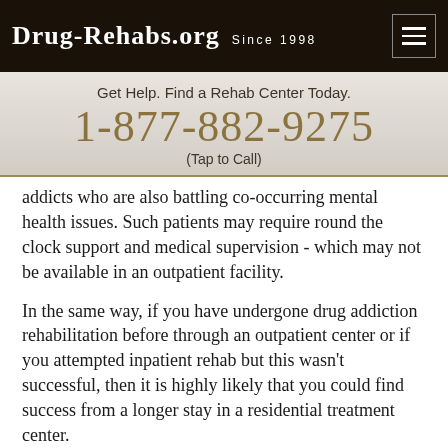Drug-Rehabs.org Since 1998
Get Help. Find a Rehab Center Today.
1-877-882-9275
(Tap to Call)
addicts who are also battling co-occurring mental health issues. Such patients may require round the clock support and medical supervision - which may not be available in an outpatient facility.
In the same way, if you have undergone drug addiction rehabilitation before through an outpatient center or if you attempted inpatient rehab but this wasn't successful, then it is highly likely that you could find success from a longer stay in a residential treatment center.
Teens, in specific, also benefit from these centers because they typically have severe mental health conditions co-occurring with their alcohol and drug